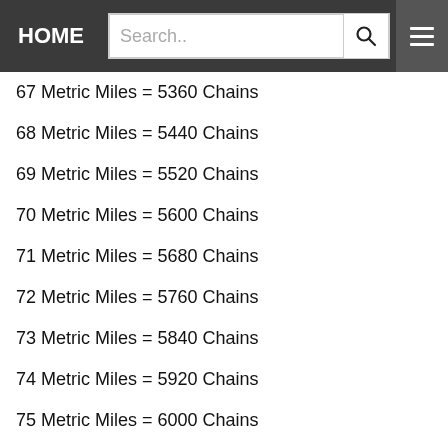HOME | Search..
67 Metric Miles = 5360 Chains
68 Metric Miles = 5440 Chains
69 Metric Miles = 5520 Chains
70 Metric Miles = 5600 Chains
71 Metric Miles = 5680 Chains
72 Metric Miles = 5760 Chains
73 Metric Miles = 5840 Chains
74 Metric Miles = 5920 Chains
75 Metric Miles = 6000 Chains
76 Metric Miles = 6080 Chains
77 Metric Miles = 6160 Chains